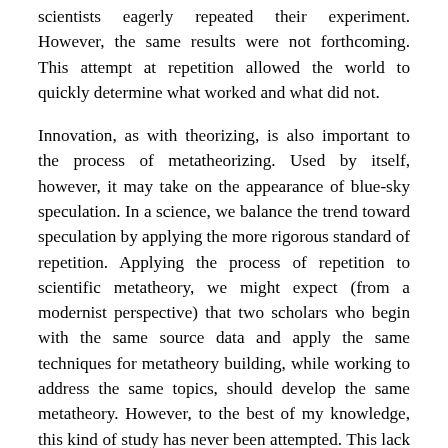scientists eagerly repeated their experiment. However, the same results were not forthcoming. This attempt at repetition allowed the world to quickly determine what worked and what did not.
Innovation, as with theorizing, is also important to the process of metatheorizing. Used by itself, however, it may take on the appearance of blue-sky speculation. In a science, we balance the trend toward speculation by applying the more rigorous standard of repetition. Applying the process of repetition to scientific metatheory, we might expect (from a modernist perspective) that two scholars who begin with the same source data and apply the same techniques for metatheory building, while working to address the same topics, should develop the same metatheory. However, to the best of my knowledge, this kind of study has never been attempted. This lack of repeatable studies supports a great opportunity for